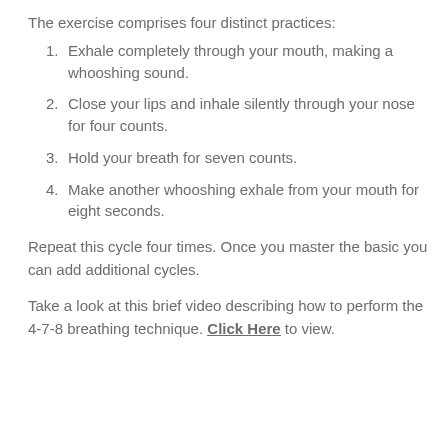The exercise comprises four distinct practices:
Exhale completely through your mouth, making a whooshing sound.
Close your lips and inhale silently through your nose for four counts.
Hold your breath for seven counts.
Make another whooshing exhale from your mouth for eight seconds.
Repeat this cycle four times. Once you master the basic you can add additional cycles.
Take a look at this brief video describing how to perform the 4-7-8 breathing technique. Click Here to view.